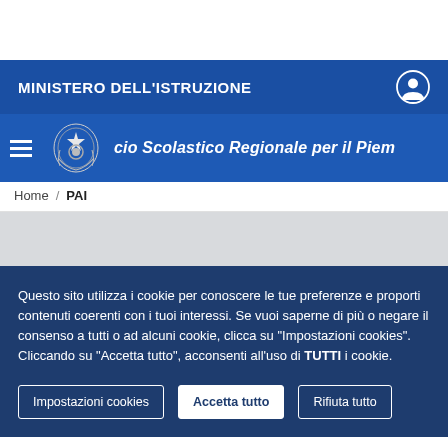MINISTERO DELL'ISTRUZIONE
Ufficio Scolastico Regionale per il Piemonte
Home / PAI
Questo sito utilizza i cookie per conoscere le tue preferenze e proporti contenuti coerenti con i tuoi interessi. Se vuoi saperne di più o negare il consenso a tutti o ad alcuni cookie, clicca su "Impostazioni cookies". Cliccando su "Accetta tutto", acconsenti all'uso di TUTTI i cookie.
Impostazioni cookies
Accetta tutto
Rifiuta tutto